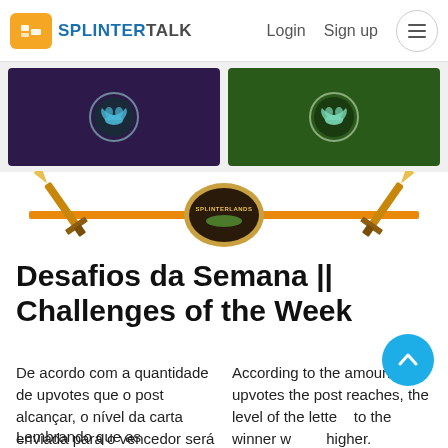SPLITERTALK  Login  Sign up
[Figure (screenshot): Two game card images side by side — left card has purple/dark background with bat icon, right card has green background with bat icon]
[Figure (illustration): Battle divider graphic with two crossed golden swords and a Splinterlands shield logo in the center on an orange horizontal bar]
Desafios da Semana || Challenges of the Week
De acordo com a quantidade de upvotes que o post alcançar, o nível da carta enviada para o vencedor será maior.
According to the amount of upvotes the post reaches, the level of the letter sent to the winner will be higher.
Lembrando que as